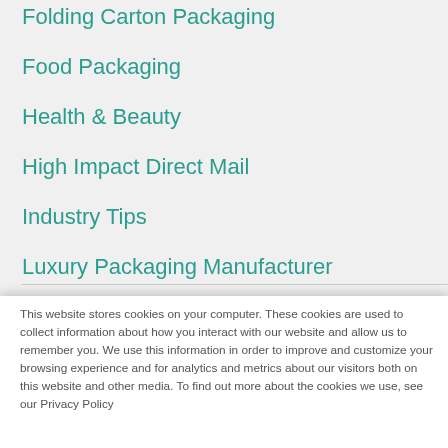Folding Carton Packaging
Food Packaging
Health & Beauty
High Impact Direct Mail
Industry Tips
Luxury Packaging Manufacturer
This website stores cookies on your computer. These cookies are used to collect information about how you interact with our website and allow us to remember you. We use this information in order to improve and customize your browsing experience and for analytics and metrics about our visitors both on this website and other media. To find out more about the cookies we use, see our Privacy Policy
If you decline, your information won't be tracked when you visit this website. A single cookie will be used in your browser to remember your preference not to be tracked.
Accept
Decline